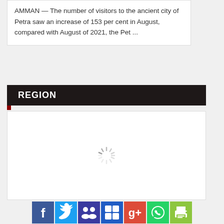AMMAN — The number of visitors to the ancient city of Petra saw an increase of 153 per cent in August, compared with August of 2021, the Pet ...
REGION
[Figure (other): Loading spinner/placeholder image in a white content box]
[Figure (other): Social media sharing buttons: Facebook, Twitter, a group/community icon, Delicious/bookmark, Google+, WhatsApp, and a print button]